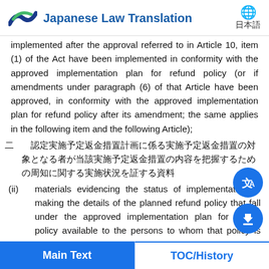Japanese Law Translation | 日本語
implemented after the approval referred to in Article 10, item (1) of the Act have been implemented in conformity with the approved implementation plan for refund policy (or if amendments under paragraph (6) of that Article have been approved, in conformity with the approved implementation plan for refund policy after its amendment; the same applies in the following item and the following Article);
二　認定実施予定返金措置計画に係る実施予定返金措置の対象となる者が当該実施予定返金措置の内容を把握するための周知に関する実施状況を証する資料
(ii)　materials evidencing the status of implementation of making the details of the planned refund policy that fall under the approved implementation plan for refund policy available to the persons to whom that policy is applicable, so that those persons can understand its details; and
Main Text | TOC/History